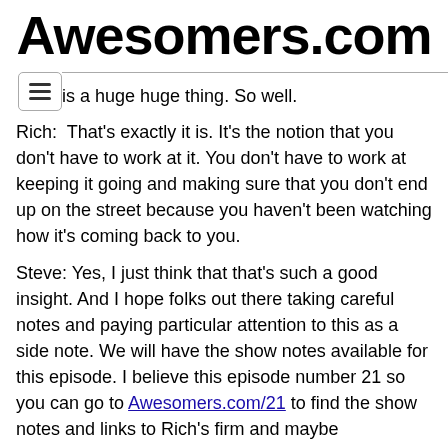Awesomers.com
is a huge huge thing. So well.
Rich:  That's exactly it is. It's the notion that you don't have to work at it. You don't have to work at keeping it going and making sure that you don't end up on the street because you haven't been watching how it's coming back to you.
Steve: Yes, I just think that that's such a good insight. And I hope folks out there taking careful notes and paying particular attention to this as a side note. We will have the show notes available for this episode. I believe this episode number 21 so you can go to Awesomers.com/21 to find the show notes and links to Rich's firm and maybe